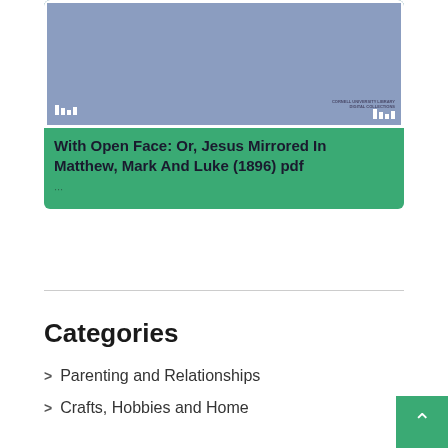[Figure (screenshot): Book cover thumbnail with blue-purple background and Cornell University Library Digital Collections logos in bottom corners]
With Open Face: Or, Jesus Mirrored In Matthew, Mark And Luke (1896) pdf
...
Categories
Parenting and Relationships
Crafts, Hobbies and Home